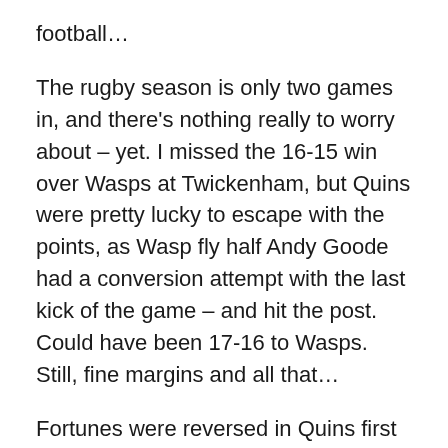football…
The rugby season is only two games in, and there's nothing really to worry about – yet. I missed the 16-15 win over Wasps at Twickenham, but Quins were pretty lucky to escape with the points, as Wasp fly half Andy Goode had a conversion attempt with the last kick of the game – and hit the post. Could have been 17-16 to Wasps. Still, fine margins and all that…
Fortunes were reversed in Quins first home game, on Friday night, against much-fancied Northampton. In filthy conditions – fizzing rain for most of the game – both sides mostly kicked, but did a good job of giving us some entertainment. Quins attacked more, with Nick Evans putting in some probing chips to the wing, but Northampton looked more dangerous when they went